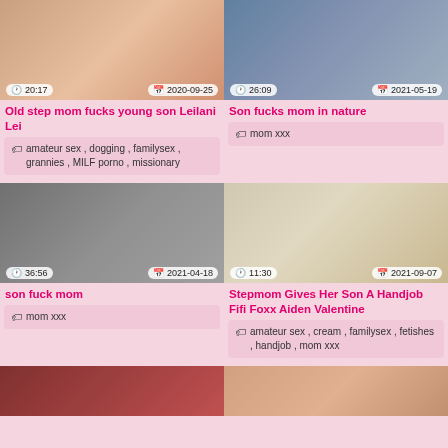[Figure (photo): Video thumbnail showing duration 20:17 and date 2020-09-25]
Old step mom fucks young son Leilani Lei
amateur sex , dogging , familysex , grannies , MILF porno , missionary
[Figure (photo): Video thumbnail showing duration 26:09 and date 2021-05-19]
Son fucks mom in nature
mom xxx
[Figure (photo): Video thumbnail showing duration 36:56 and date 2021-04-18]
son fuck mom
mom xxx
[Figure (photo): Video thumbnail showing duration 11:30 and date 2021-09-07]
Stepmom Gives Her Son A Handjob Fifi Foxx Aiden Valentine
amateur sex , cream , familysex , fetishes , handjob , mom xxx
[Figure (photo): Partial video thumbnail bottom left]
[Figure (photo): Partial video thumbnail bottom right]